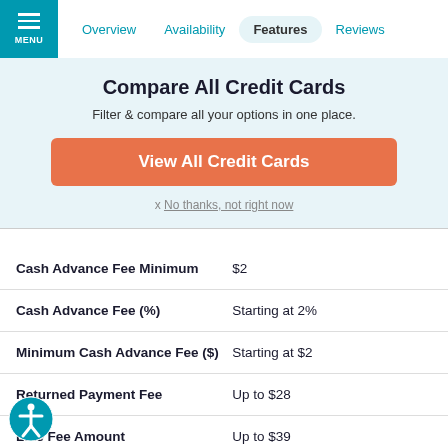MENU | Overview | Availability | Features | Reviews
Compare All Credit Cards
Filter & compare all your options in one place.
View All Credit Cards
x No thanks, not right now
| Feature | Value |
| --- | --- |
| Cash Advance Fee Minimum | $2 |
| Cash Advance Fee (%) | Starting at 2% |
| Minimum Cash Advance Fee ($) | Starting at $2 |
| Returned Payment Fee | Up to $28 |
| Late Fee Amount | Up to $39 |